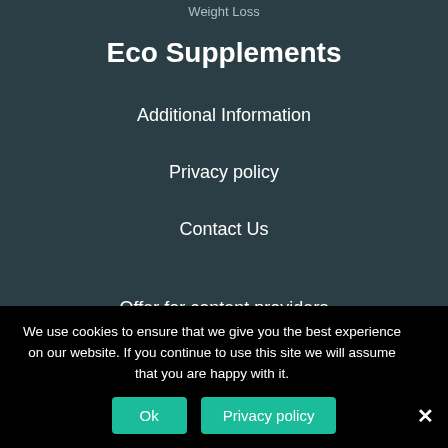Weight Loss
Eco Supplements
Additional Information
Privacy policy
Contact Us
Offer for content providers
We use cookies to ensure that we give you the best experience on our website. If you continue to use this site we will assume that you are happy with it.
Ok
Privacy policy